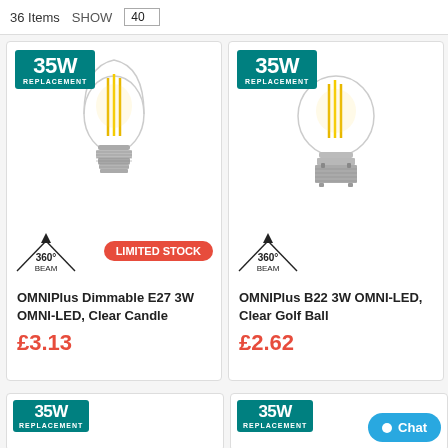36 Items   SHOW   40
[Figure (photo): Clear candle LED filament bulb with E27 screw base, glowing yellow filaments visible inside, 35W replacement badge]
[Figure (photo): Clear golf ball LED filament bulb with B22 bayonet base, glowing yellow filaments visible inside, 35W replacement badge]
OMNIPlus Dimmable E27 3W OMNI-LED, Clear Candle
£3.13
OMNIPlus B22 3W OMNI-LED, Clear Golf Ball
£2.62
[Figure (photo): Bottom left product card partially shown with 35W Replacement badge]
[Figure (photo): Bottom right product card partially shown with 35W Replacement badge and Chat button]